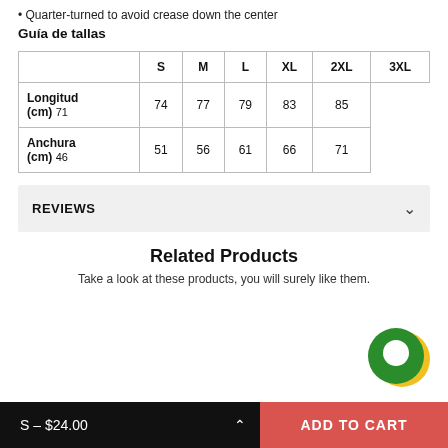Quarter-turned to avoid crease down the center
Guía de tallas
|  | S | M | L | XL | 2XL | 3XL |
| --- | --- | --- | --- | --- | --- | --- |
| Longitud (cm) | 71 | 74 | 77 | 79 | 83 | 85 |
| Anchura (cm) | 46 | 51 | 56 | 61 | 66 | 71 |
REVIEWS
Related Products
Take a look at these products, you will surely like them.
[Figure (illustration): Green and yellow circle chat/support widget button]
S – $24.00
ADD TO CART